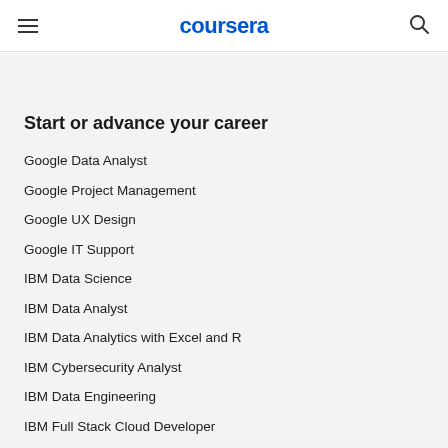coursera
Start or advance your career
Google Data Analyst
Google Project Management
Google UX Design
Google IT Support
IBM Data Science
IBM Data Analyst
IBM Data Analytics with Excel and R
IBM Cybersecurity Analyst
IBM Data Engineering
IBM Full Stack Cloud Developer